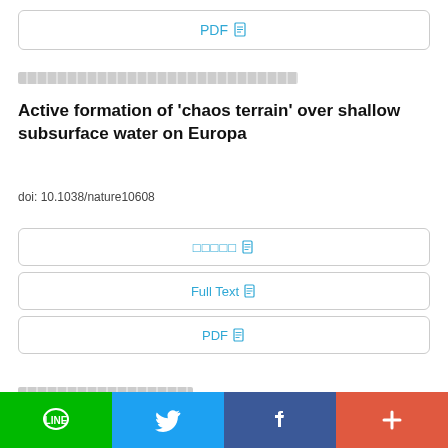PDF
█████████████████████████████████████████████
Active formation of ‘chaos terrain’ over shallow subsurface water on Europa
doi: 10.1038/nature10608
□□□□□
Full Text
PDF
█████████████████████████
[Figure (other): Social sharing footer bar with LINE (green), Twitter (blue), Facebook (dark blue), and plus/more button (red-orange)]